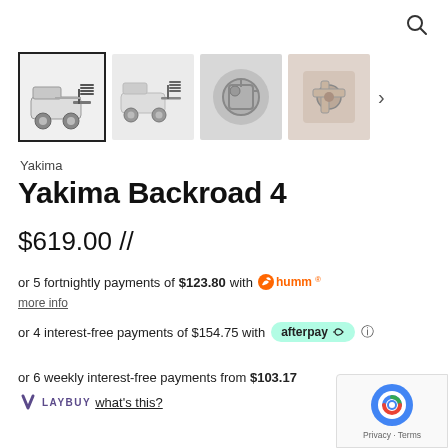[Figure (photo): Search icon (magnifying glass) in top right corner]
[Figure (screenshot): Product image gallery showing Yakima Backroad 4 hitch bike rack from multiple angles. First image selected/highlighted with border. Three additional thumbnails visible plus a right arrow for more.]
Yakima
Yakima Backroad 4
$619.00 //
or 5 fortnightly payments of $123.80 with humm more info
or 4 interest-free payments of $154.75 with afterpay
or 6 weekly interest-free payments from $103.17
LAYBUY what's this?